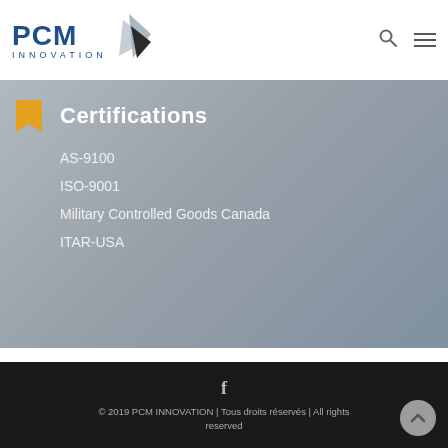PCM INNOVATION
Certifications
AS-9100
ISO-9001
Military Controlled Goods Canada
ITAR-USA
© 2019 PCM INNOVATION | Tous droits réservés | All rights reserved